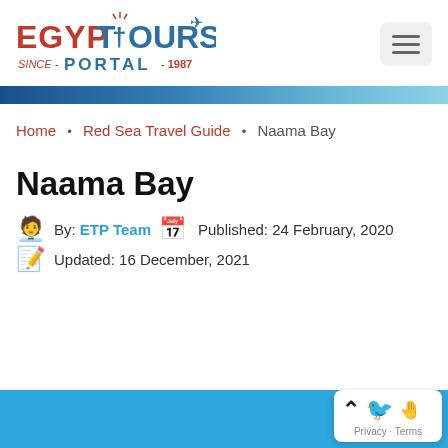[Figure (logo): Egypt Tours Portal logo with red 'EGYPT', blue ankh symbol, blue 'TOURS' text with airplane icon, and blue 'PORTAL' text with 'SINCE 1987' in red below]
Home • Red Sea Travel Guide • Naama Bay
Naama Bay
By: ETP Team  Published: 24 February, 2020
Updated: 16 December, 2021